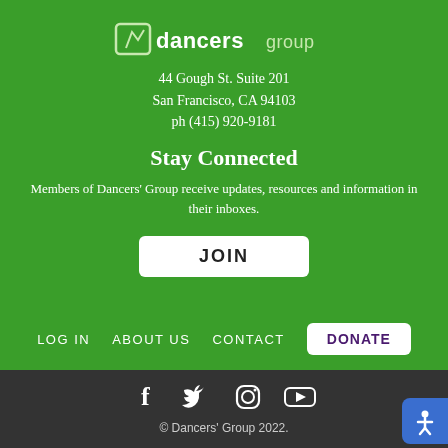[Figure (logo): Dancers' Group logo — stylized figure with text 'dancers group']
44 Gough St. Suite 201
San Francisco, CA 94103
ph (415) 920-9181
Stay Connected
Members of Dancers' Group receive updates, resources and information in their inboxes.
JOIN
LOG IN   ABOUT US   CONTACT   DONATE
[Figure (illustration): Social media icons: Facebook, Twitter, Instagram, YouTube]
© Dancers' Group  2022.